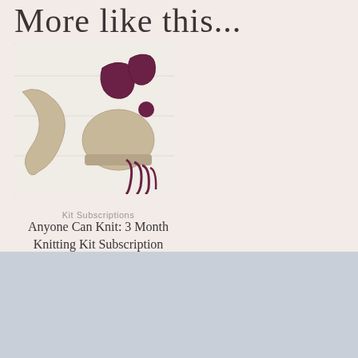More like this...
Kit Subscriptions
Anyone Can Knit: 3 Month Knitting Kit Subscription
£35.00 / month for 3 months
[Figure (photo): Photo of knitting accessories: a beige knit hat with pom-pom, beige knit scarf, and burgundy/dark red fingerless gloves and accessories arranged on a white wooden surface]
[Figure (photo): Circular portrait photo of a blonde woman with red/burgundy yarn balls in the background]